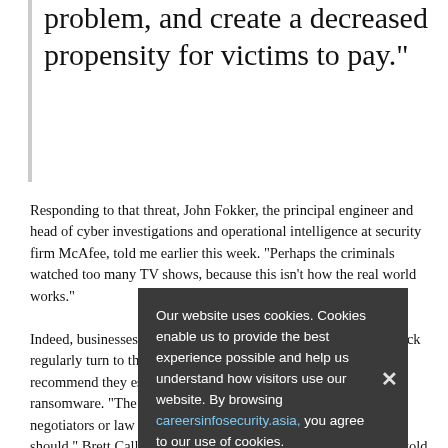problem, and create a decreased propensity for victims to pay."
Responding to that threat, John Fokker, the principal engineer and head of cyber investigations and operational intelligence at security firm McAfee, told me earlier this week. "Perhaps the criminals watched too many TV shows, because this isn't how the real world works."
Indeed, businesses and other entities that get hit by an online attack regularly turn to third parties to help, and security experts recommend they especially do so after any attack involving ransomware. "The fact that gangs don't want victims to involve negotiators or law enforcement is a clear indication that they should," Brett Callow, a threat analyst at security firm Emsisoft, told me in the wake of Ragnar Locker's threat.
Our website uses cookies. Cookies enable us to provide the best experience possible and help us understand how visitors use our website. By browsing careersinfosecurity.asia, you agree to our use of cookies.